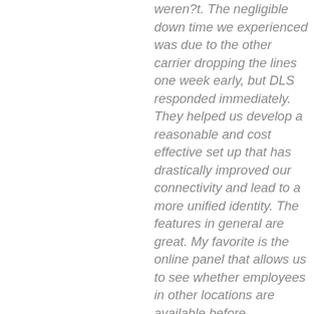weren?t. The negligible down time we experienced was due to the other carrier dropping the lines one week early, but DLS responded immediately. They helped us develop a reasonable and cost effective set up that has drastically improved our connectivity and lead to a more unified identity. The features in general are great. My favorite is the online panel that allows us to see whether employees in other locations are available before transferring a call. The ability to offer another staff member?s help immediately instead of adding to the pile of voicemails that need to be returned is a big timesaver.